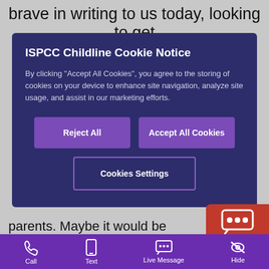brave in writing to us today, looking to get
[Figure (screenshot): ISPCC Childline cookie notice modal overlay with dark navy background containing title, body text, and three buttons: Reject All, Accept All Cookies, Cookies Settings]
parents. Maybe it would be easier to t somebody that you do not know first. However, it is important for your mental health and well-being that you do get the support you need and that
[Figure (other): Live Message button - red speech bubble icon with chat dots and 'Live Message' label]
Call  Text  Live Message  Hide